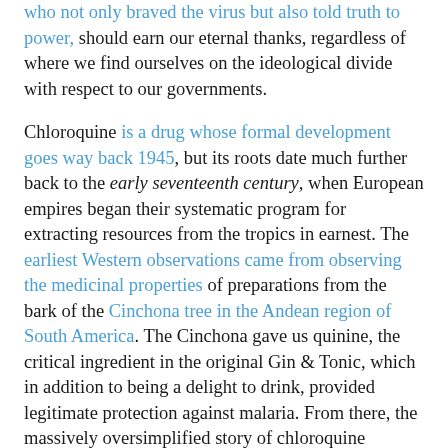who not only braved the virus but also told truth to power, should earn our eternal thanks, regardless of where we find ourselves on the ideological divide with respect to our governments.
Chloroquine is a drug whose formal development goes way back 1945, but its roots date much further back to the early seventeenth century, when European empires began their systematic program for extracting resources from the tropics in earnest. The earliest Western observations came from observing the medicinal properties of preparations from the bark of the Cinchona tree in the Andean region of South America. The Cinchona gave us quinine, the critical ingredient in the original Gin & Tonic, which in addition to being a delight to drink, provided legitimate protection against malaria. From there, the massively oversimplified story of chloroquine requires a fast forward to the early 19th century, when the foundations of modern medicine were being laid by the development, of all things, of the modern dye industry, because they eventually begat German biochemical and pharmaceutical companies like IG Farben. (If you're puzzled by seeing a reference to dye makers, the link is that 19th century scientists discovered that some dye